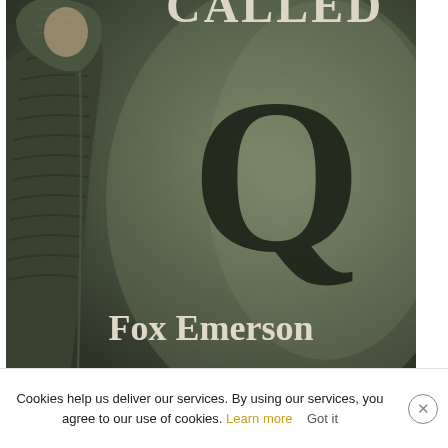[Figure (illustration): Book cover for a novel called 'Called Q' by Fox Emerson. The cover shows a person in a dark olive/green puffer jacket with a hood, seen from the side in misty, foggy conditions. Large text 'CALLED' appears at the top (partially cropped), a large serif letter 'Q' dominates the center-right of the cover, and 'Fox Emerson' is displayed in bold serif font at the bottom.]
Cookies help us deliver our services. By using our services, you agree to our use of cookies. Learn more   Got it